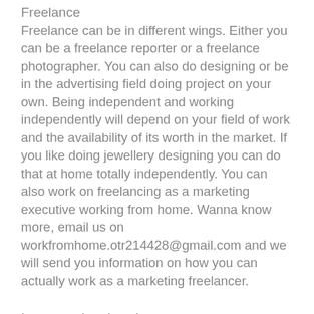Freelance
Freelance can be in different wings. Either you can be a freelance reporter or a freelance photographer. You can also do designing or be in the advertising field doing project on your own. Being independent and working independently will depend on your field of work and the availability of its worth in the market. If you like doing jewellery designing you can do that at home totally independently. You can also work on freelancing as a marketing executive working from home. Wanna know more, email us on workfromhome.otr214428@gmail.com and we will send you information on how you can actually work as a marketing freelancer.
Internet related work
This is a very vast field and here sky is the limit. All you need is a computer and Internet facility. Whatever field you are into work at home is perfect match in the software field. You can match your time according to your convenience and complete whatever projects you get. To learn more about how to work from